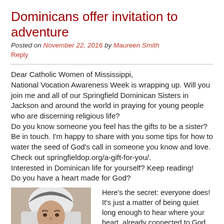Dominicans offer invitation to adventure
Posted on November 22, 2016 by Maureen Smith
Reply
Dear Catholic Women of Mississippi,
National Vocation Awareness Week is wrapping up. Will you join me and all of our Springfield Dominican Sisters in Jackson and around the world in praying for young people who are discerning religious life?
Do you know someone you feel has the gifts to be a sister?
Be in touch. I'm happy to share with you some tips for how to water the seed of God's call in someone you know and love. Check out springfieldop.org/a-gift-for-you/.
Interested in Dominican life for yourself? Keep reading!
Do you have a heart made for God?
[Figure (photo): Portrait photo of a nun wearing a white habit/veil]
Here's the secret: everyone does! It's just a matter of being quiet long enough to hear where your heart, already connected to God, is calling you. Do you think religious life takes courage? It does, some. Having courage is the same thing as having...